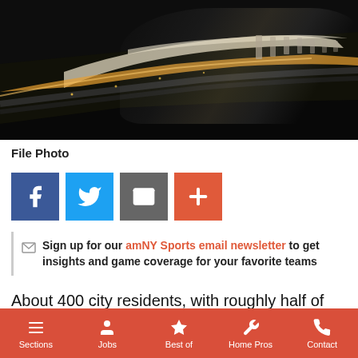[Figure (photo): Aerial view of LaGuardia Airport terminal at dusk/dawn, showing curved terminal building with jetways and roads, dark background with warm golden lighting along the runway/terminal edge]
File Photo
[Figure (infographic): Social media share buttons: Facebook (blue), Twitter (light blue), Email (gray), Plus/More (orange-red)]
Sign up for our amNY Sports email newsletter to get insights and game coverage for your favorite teams
About 400 city residents, with roughly half of them from Queens, were hired for jobs at LaGuardia Airport's new Terminal B concourse, Governor Cuomo announced on
Sections   Jobs   Best of   Home Pros   Contact